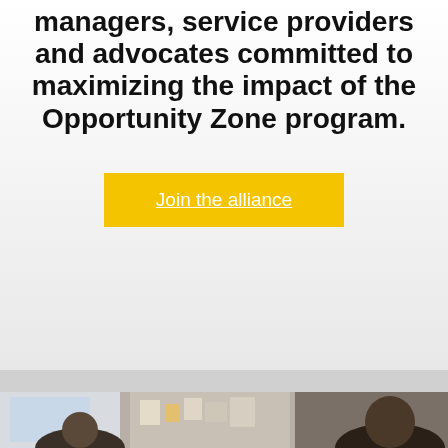Join Opportunity Zone fund managers, service providers and advocates committed to maximizing the impact of the Opportunity Zone program.
Join the alliance
[Figure (photo): Photo of people in a meeting or workshop setting, partially visible at the bottom of the page]